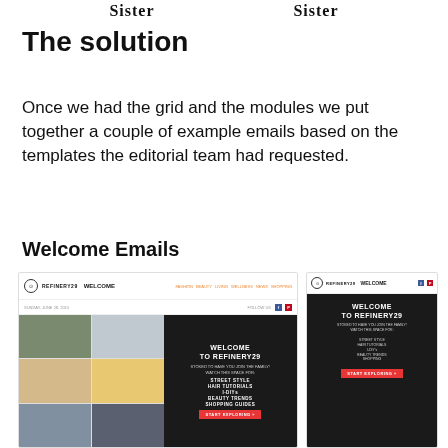[Figure (illustration): Two 'Sister' logo/title text items side by side at top of page]
The solution
Once we had the grid and the modules we put together a couple of example emails based on the templates the editorial team had requested.
Welcome Emails
[Figure (screenshot): Two email template screenshots showing Refinery29 welcome emails — one desktop and one mobile version, both with dark hero area reading WELCOME TO REFINERY29 with list items STREET STYLE, HAIR TUTORIALS, I-DIYs, BEAUTY TRENDS, SHOPPING GUIDES and a START EXPLORING button]